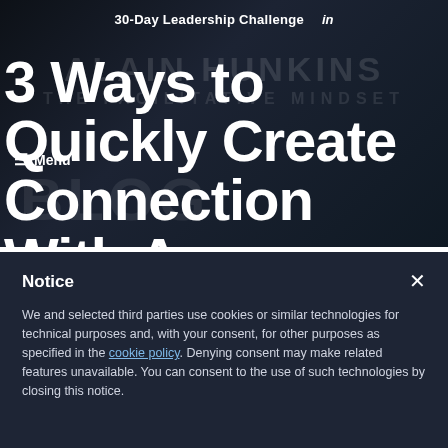30-Day Leadership Challenge   in
3 Ways to Quickly Create Connection With An Audience
≡ Menu
Notice
We and selected third parties use cookies or similar technologies for technical purposes and, with your consent, for other purposes as specified in the cookie policy. Denying consent may make related features unavailable. You can consent to the use of such technologies by closing this notice.